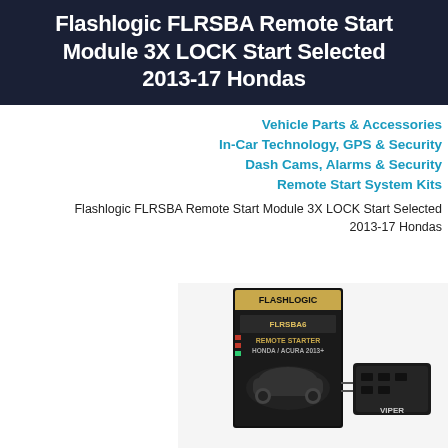Flashlogic FLRSBA Remote Start Module 3X LOCK Start Selected 2013-17 Hondas
Vehicle Parts & Accessories
In-Car Technology, GPS & Security
Dash Cams, Alarms & Security
Remote Start System Kits
Flashlogic FLRSBA Remote Start Module 3X LOCK Start Selected
2013-17 Hondas
[Figure (photo): Product box for Flashlogic FLRSBA Remote Starter for Honda/Acura 2013+, shown with the module device beside the retail box packaging.]